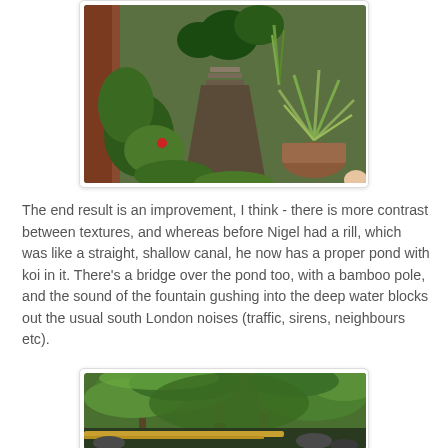[Figure (photo): Garden path with lush tropical plants including a large yucca in a terracotta pot on the right, ferns and broad-leafed plants on the left, stone steps leading upward in the background.]
The end result is an improvement, I think - there is more contrast between textures, and whereas before Nigel had a rill, which was like a straight, shallow canal, he now has a proper pond with koi in it. There's a bridge over the pond too, with a bamboo pole, and the sound of the fountain gushing into the deep water blocks out the usual south London noises (traffic, sirens, neighbours etc).
[Figure (photo): Dense woodland-style garden with large Japanese maple trees with delicate feathery green foliage, moss-covered trunks, and what appears to be a bamboo pole or bridge element in the lower foreground.]